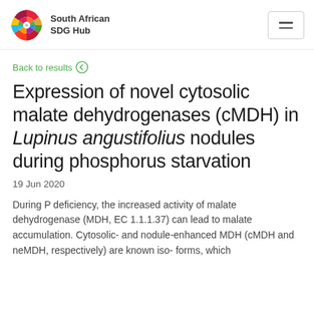South African SDG Hub
Back to results
Expression of novel cytosolic malate dehydrogenases (cMDH) in Lupinus angustifolius nodules during phosphorus starvation
19 Jun 2020
During P deficiency, the increased activity of malate dehydrogenase (MDH, EC 1.1.1.37) can lead to malate accumulation. Cytosolic- and nodule-enhanced MDH (cMDH and neMDH, respectively) are known iso- forms, which